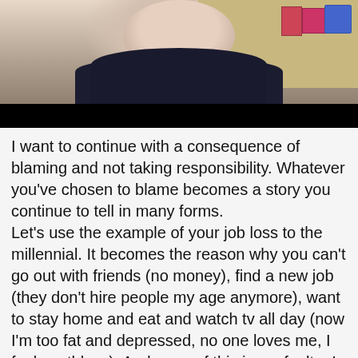[Figure (photo): Photo of a woman wearing dark clothing, seated in an office environment with shelving and framed items visible in the background. A black redaction bar covers text below the photo.]
I want to continue with a consequence of blaming and not taking responsibility. Whatever you've chosen to blame becomes a story you continue to tell in many forms.
Let's use the example of your job loss to the millennial. It becomes the reason why you can't go out with friends (no money), find a new job (they don't hire people my age anymore), want to stay home and eat and watch tv all day (now I'm too fat and depressed, no one loves me, I feel worthless). And none of this is my fault – I can't help it that I'm old.